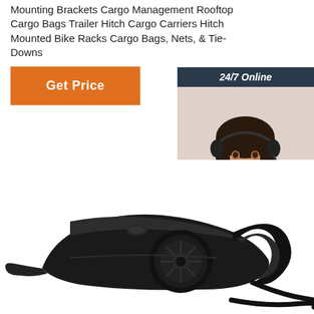Mounting Brackets Cargo Management Rooftop Cargo Bags Trailer Hitch Cargo Carriers Hitch Mounted Bike Racks Cargo Bags, Nets, & Tie-Downs
[Figure (other): Orange 'Get Price' button]
[Figure (other): Customer service chat widget with '24/7 Online' header, photo of woman wearing headset, 'Click here for free chat!' text, and orange QUOTATION button]
[Figure (photo): Black handheld car vacuum cleaner with cord, viewed from side]